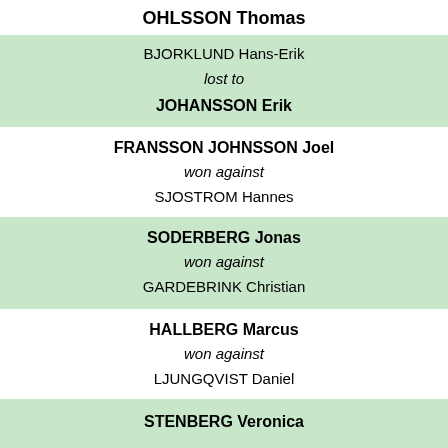OHLSSON Thomas
BJORKLUND Hans-Erik
lost to
JOHANSSON Erik
FRANSSON JOHNSSON Joel
won against
SJOSTROM Hannes
SODERBERG Jonas
won against
GARDEBRINK Christian
HALLBERG Marcus
won against
LJUNGQVIST Daniel
STENBERG Veronica